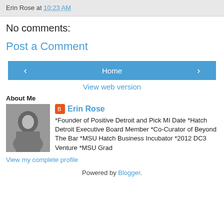Erin Rose at 10:23 AM
No comments:
Post a Comment
[Figure (other): Navigation buttons: left arrow, Home, right arrow]
View web version
About Me
[Figure (photo): Black and white profile photo of Erin Rose]
Erin Rose
*Founder of Positive Detroit and Pick MI Date *Hatch Detroit Executive Board Member *Co-Curator of Beyond The Bar *MSU Hatch Business Incubator *2012 DC3 Venture *MSU Grad
View my complete profile
Powered by Blogger.